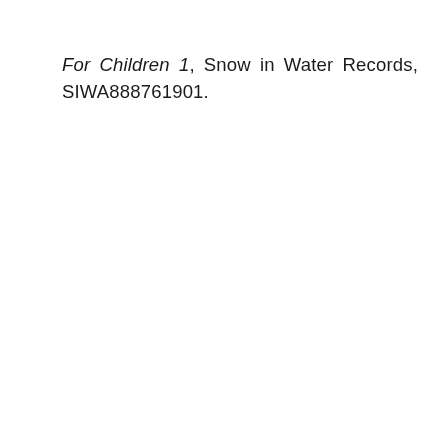For Children 1, Snow in Water Records, SIWA888761901.